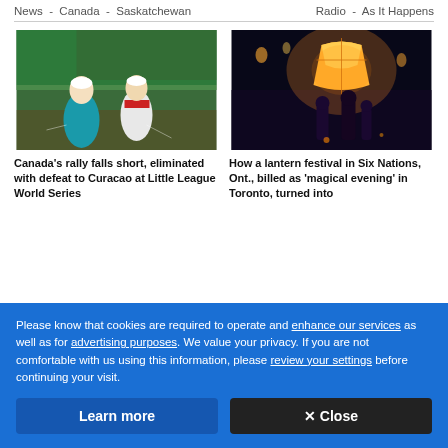News - Canada - Saskatchewan | Radio - As It Happens
[Figure (photo): Two Little League baseball players running on a field, one in white uniform, one in blue/teal, with green outfield background]
Canada's rally falls short, eliminated with defeat to Curacao at Little League World Series
[Figure (photo): Night scene of people holding a large glowing orange sky lantern at a lantern festival, dark background with crowd and lights]
How a lantern festival in Six Nations, Ont., billed as 'magical evening' in Toronto, turned into
Please know that cookies are required to operate and enhance our services as well as for advertising purposes. We value your privacy. If you are not comfortable with us using this information, please review your settings before continuing your visit.
Learn more
✕ Close